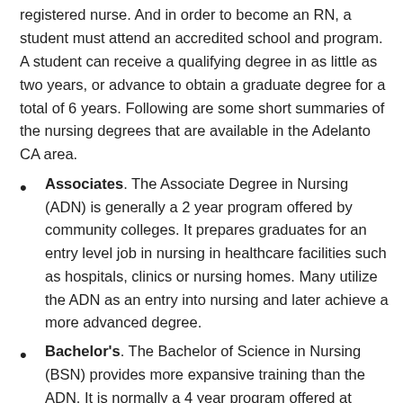registered nurse. And in order to become an RN, a student must attend an accredited school and program. A student can receive a qualifying degree in as little as two years, or advance to obtain a graduate degree for a total of 6 years. Following are some short summaries of the nursing degrees that are available in the Adelanto CA area.
Associates. The Associate Degree in Nursing (ADN) is generally a 2 year program offered by community colleges. It prepares graduates for an entry level job in nursing in healthcare facilities such as hospitals, clinics or nursing homes. Many utilize the ADN as an entry into nursing and later achieve a more advanced degree.
Bachelor's. The Bachelor of Science in Nursing (BSN) provides more expansive training than the ADN. It is normally a 4 year program offered at colleges and universities. Licensed RNs may be qualified to complete an accelerated program based on their past training or degree and professional experience (RN to BSN). Those